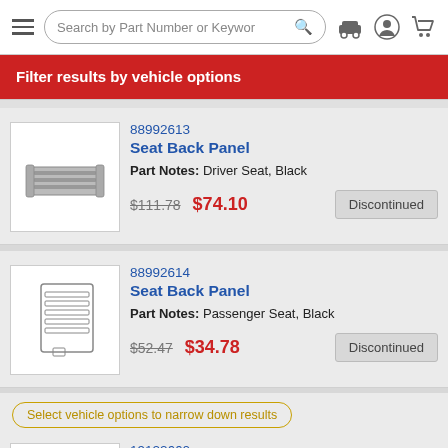Search by Part Number or Keyword
Filter results by vehicle options
88992613 Seat Back Panel Part Notes: Driver Seat, Black $111.78 $74.10 Discontinued
88992614 Seat Back Panel Part Notes: Passenger Seat, Black $52.47 $34.78 Discontinued
Select vehicle options to narrow down results
19122660